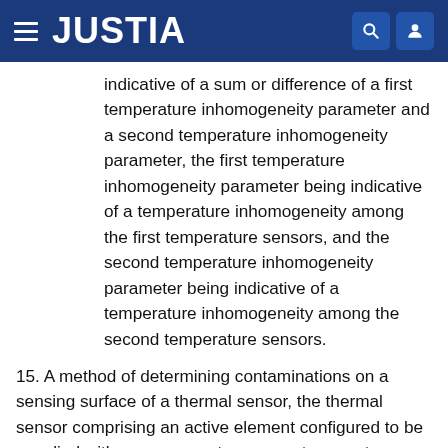JUSTIA
indicative of a sum or difference of a first temperature inhomogeneity parameter and a second temperature inhomogeneity parameter, the first temperature inhomogeneity parameter being indicative of a temperature inhomogeneity among the first temperature sensors, and the second temperature inhomogeneity parameter being indicative of a temperature inhomogeneity among the second temperature sensors.
15. A method of determining contaminations on a sensing surface of a thermal sensor, the thermal sensor comprising an active element configured to be supplied with power so as to cause a temperature change of the active element, in particular, a heater or cooler, at least two first temperature sensors arranged in different sectors of the sensing surface, and at least two second